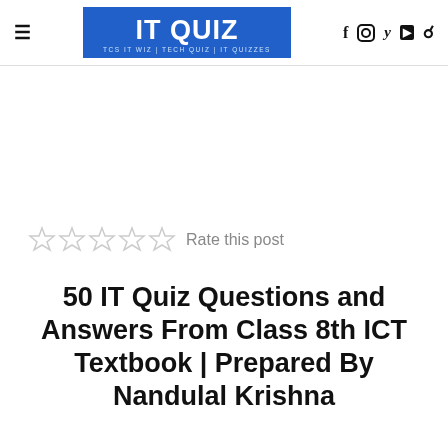IT QUIZ — TCS IT WIZ | TECH QUIZ | IT QUIZZES
[Figure (other): Star rating widget showing 5 empty stars with label 'Rate this post']
50 IT Quiz Questions and Answers From Class 8th ICT Textbook | Prepared By Nandulal Krishna